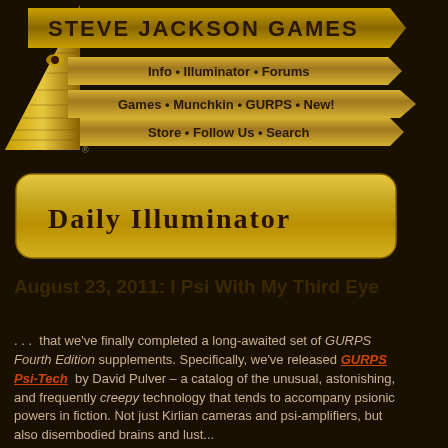[Figure (logo): Steve Jackson Games website header with pyramid logo and navigation bars showing: Info • Illuminator • Forums, Games • Munchkin • GURPS • New!, Store • Follow Us • Search]
[Figure (logo): Daily Illuminator banner with stylized text on gold rounded rectangle background]
August 23, 2011: I Psi With My Third Eye
... that we've finally completed a long-awaited set of GURPS Fourth Edition supplements. Specifically, we've released GURPS Psi-Tech by David Pulver – a catalog of the unusual, astonishing, and frequently creepy technology that tends to accompany psionic powers in fiction. Not just Kirlian cameras and psi-amplifiers, but also disembodied brains and lust...